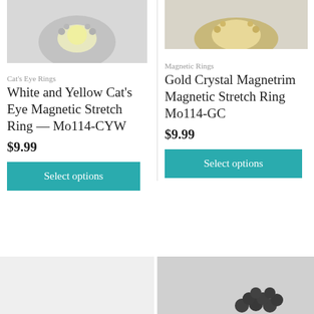[Figure (photo): Partial product photo of white and yellow cat's eye magnetic stretch ring, top portion visible, light grey background]
[Figure (photo): Partial product photo of gold crystal magnetic stretch ring, top portion visible, light grey background]
Cat's Eye Rings
White and Yellow Cat's Eye Magnetic Stretch Ring — Mo114-CYW
$9.99
Select options
Magnetic Rings
Gold Crystal Magnetrim Magnetic Stretch Ring Mo114-GC
$9.99
Select options
[Figure (photo): Bottom partial product image, left side, white/light background, jewelry item partially visible]
[Figure (photo): Bottom partial product image, right side, dark beads/pearls magnetic ring partially visible on grey background]